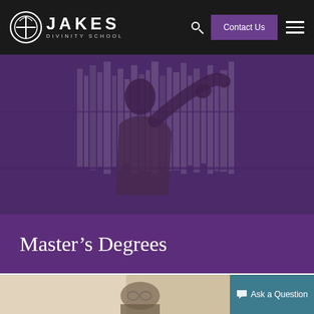[Figure (screenshot): Jakes Divinity School navigation bar with logo, search icon, Contact Us button, and hamburger menu on dark background]
[Figure (photo): Purple-tinted black and white photo of a student reaching for books on a library bookshelf]
Master's Degrees
Master's Degrees
[Figure (photo): Partial photo of a student studying at a desk, bottom of page]
[Figure (other): Ask a Question button in teal/dark cyan color with speech bubble icon]